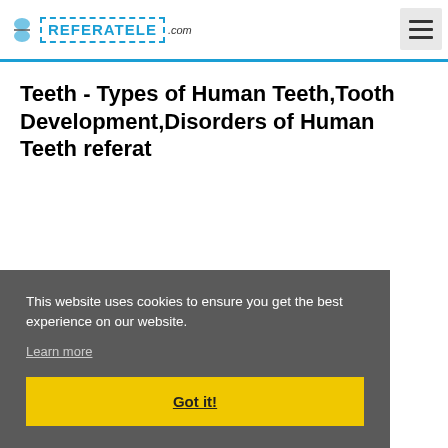REFERATELE.com
Teeth - Types of Human Teeth,Tooth Development,Disorders of Human Teeth referat
This website uses cookies to ensure you get the best experience on our website.
Learn more
Got it!